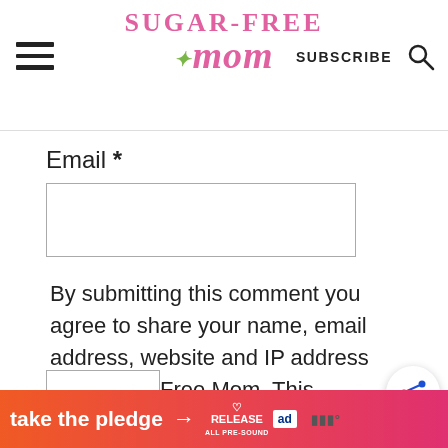Sugar-Free Mom | SUBSCRIBE
Email *
By submitting this comment you agree to share your name, email address, website and IP address with Sugar Free Mom. This information will not be used for any purpose other than enabling you to post a comment. *
[Figure (screenshot): Advertisement banner at the bottom: 'take the pledge → RELEASE ALL PRE-SOUND [ed logo]']